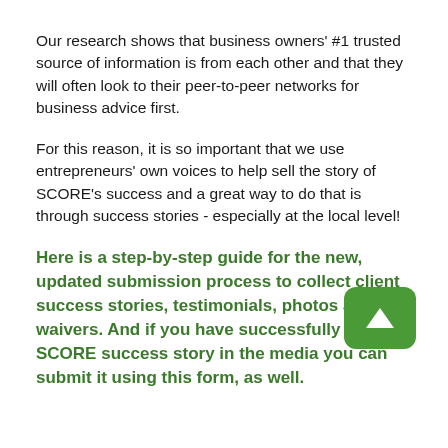Our research shows that business owners' #1 trusted source of information is from each other and that they will often look to their peer-to-peer networks for business advice first.
For this reason, it is so important that we use entrepreneurs' own voices to help sell the story of SCORE's success and a great way to do that is through success stories - especially at the local level!
Here is a step-by-step guide for the new, updated submission process to collect client success stories, testimonials, photos and waivers. And if you have successfully placed a SCORE success story in the media you can submit it using this form, as well.